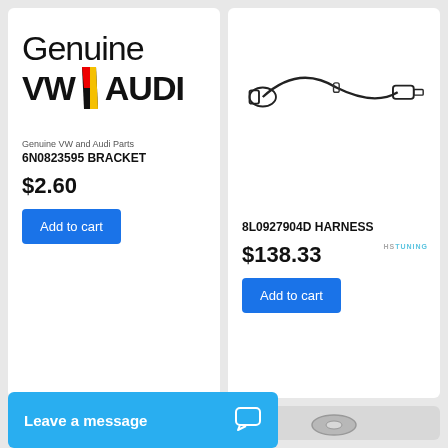[Figure (logo): Genuine VW/AUDI logo with black text and red/yellow/black diagonal slash]
Genuine VW and Audi Parts
6N0823595 BRACKET
$2.60
Add to cart
[Figure (illustration): Line drawing of a wiring harness/connector with two ends and a curved wire]
8L0927904D HARNESS
$138.33
Add to cart
[Figure (photo): Photo of a metal bolt/stud on white background - partial bottom card]
[Figure (photo): Photo of a metal washer/ring on grey background - partial bottom card]
Leave a message